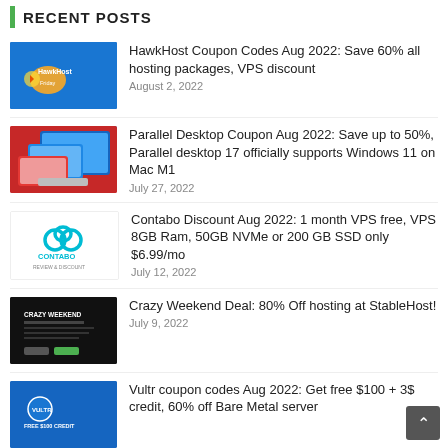RECENT POSTS
HawkHost Coupon Codes Aug 2022: Save 60% all hosting packages, VPS discount | August 2, 2022
Parallel Desktop Coupon Aug 2022: Save up to 50%, Parallel desktop 17 officially supports Windows 11 on Mac M1 | July 27, 2022
Contabo Discount Aug 2022: 1 month VPS free, VPS 8GB Ram, 50GB NVMe or 200 GB SSD only $6.99/mo | July 12, 2022
Crazy Weekend Deal: 80% Off hosting at StableHost! | July 9, 2022
Vultr coupon codes Aug 2022: Get free $100 + 3$ credit, 60% off Bare Metal server